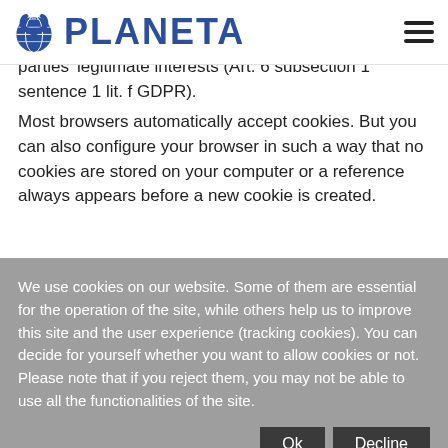[Figure (logo): Planeta logo with globe icon and blue PLANETA text]
parties' legitimate interests (Art. 6 subsection 1 sentence 1 lit. f GDPR).
Most browsers automatically accept cookies. But you can also configure your browser in such a way that no cookies are stored on your computer or a reference always appears before a new cookie is created.
Complete deactivation of cookies may lead to you not being able to use all the functions of our website.
We use cookies on our website. Some of them are essential for the operation of the site, while others help us to improve this site and the user experience (tracking cookies). You can decide for yourself whether you want to allow cookies or not. Please note that if you reject them, you may not be able to use all the functionalities of the site.
Ok
Decline
More information